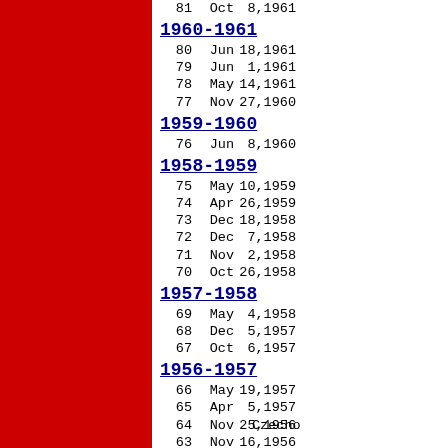| # | Month | Date |
| --- | --- | --- |
| 81 | Oct | 8,1961 |
| 1960-1961 |  |  |
| 80 | Jun | 18,1961 |
| 79 | Jun | 1,1961 |
| 78 | May | 14,1961 |
| 77 | Nov | 27,1960 |
| 1959-1960 |  |  |
| 76 | Jun | 8,1960 |
| 1958-1959 |  |  |
| 75 | May | 10,1959 |
| 74 | Apr | 26,1959 |
| 73 | Dec | 18,1958 |
| 72 | Dec | 7,1958 |
| 71 | Nov | 2,1958 |
| 70 | Oct | 26,1958 |
| 1957-1958 |  |  |
| 69 | May | 4,1958 |
| 68 | Dec | 5,1957 |
| 67 | Oct | 6,1957 |
| 1956-1957 |  |  |
| 66 | May | 19,1957 |
| 65 | Apr | 5,1957 |
| 64 | Nov | 25,1956 |
| 63 | Nov | 16,1956 |
| 1955-1956 |  |  |
| 62 | May | 1,1956 |
| 61 | Mar | 25,1956 |
| 60 | Feb | 19,1956 |
| 59 | Dec | 25,1955 |
Czecho
Fr